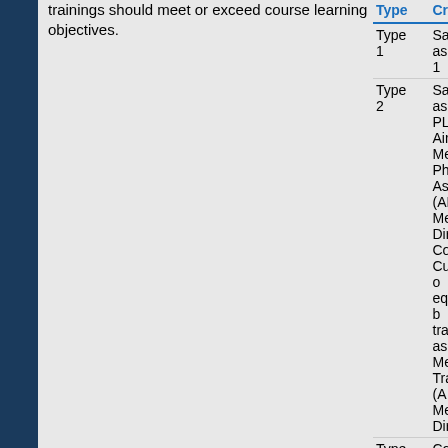trainings should meet or exceed course learning objectives.
| Type | Criteria |
| --- | --- |
| Type 1 | Same as Type 1 |
| Type 2 | Same as Type 1 PLUS: Air Medical Physician Association's (AMPA) Medical Director Core Curriculum or equivalent basic training as an Air Medical Transport (AMT) Medical Director |
| Type 3 | Completion of the following: IS-100: Introduction to the Incident Command System, ICS 2. IS-200: Ba... |